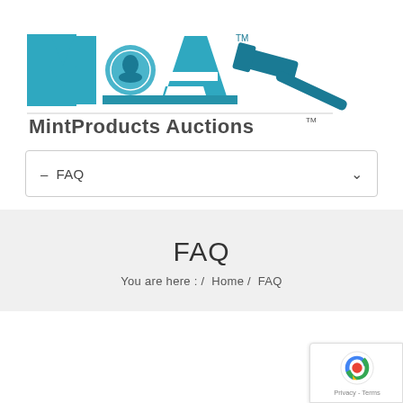[Figure (logo): MintProducts Auctions logo with teal/blue MPA letters and gavel icon, with text 'MintProducts Auctions' below]
– FAQ
FAQ
You are here : / Home / FAQ